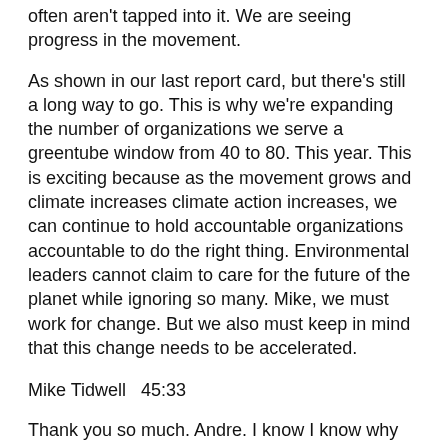often aren't tapped into it. We are seeing progress in the movement.
As shown in our last report card, but there's still a long way to go. This is why we're expanding the number of organizations we serve a greentube window from 40 to 80. This year. This is exciting because as the movement grows and climate increases climate action increases, we can continue to hold accountable organizations accountable to do the right thing. Environmental leaders cannot claim to care for the future of the planet while ignoring so many. Mike, we must work for change. But we also must keep in mind that this change needs to be accelerated.
Mike Tidwell  45:33
Thank you so much. Andre. I know I know why you began with the question, Where do I begin? And